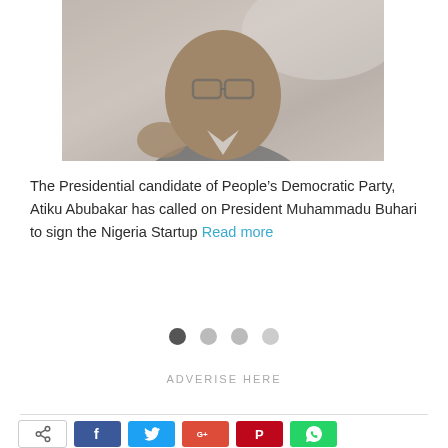[Figure (photo): Close-up photograph of a person, likely Atiku Abubakar, partially visible, shown against a light gray background.]
The Presidential candidate of People's Democratic Party, Atiku Abubakar has called on President Muhammadu Buhari to sign the Nigeria Startup Read more
ADVERISE HERE